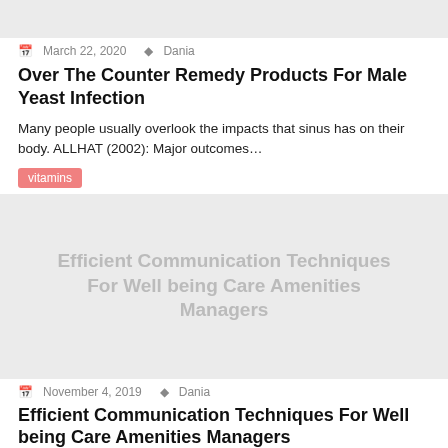[Figure (photo): Gray placeholder image at top of page]
March 22, 2020  Dania
Over The Counter Remedy Products For Male Yeast Infection
Many people usually overlook the impacts that sinus has on their body. ALLHAT (2002): Major outcomes…
vitamins
[Figure (photo): Gray placeholder image with overlaid text: Efficient Communication Techniques For Well being Care Amenities Managers]
November 4, 2019  Dania
Efficient Communication Techniques For Well being Care Amenities Managers